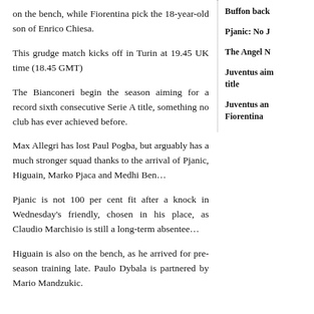on the bench, while Fiorentina pick the 18-year-old son of Enrico Chiesa.
This grudge match kicks off in Turin at 19.45 UK time (18.45 GMT)
The Bianconeri begin the season aiming for a record sixth consecutive Serie A title, something no club has ever achieved before.
Max Allegri has lost Paul Pogba, but arguably has a much stronger squad thanks to the arrival of Pjanic, Higuain, Marko Pjaca and Medhi Ben...
Pjanic is not 100 per cent fit after a knock in Wednesday's friendly, chosen in his place, as Claudio Marchisio is still a long-term absentee...
Higuain is also on the bench, as he arrived for pre-season training late. Paulo Dybala is partnered by Mario Mandzukic.
Buffon back
Pjanic: No J
The Angel N
Juventus aim title
Juventus and Fiorentina